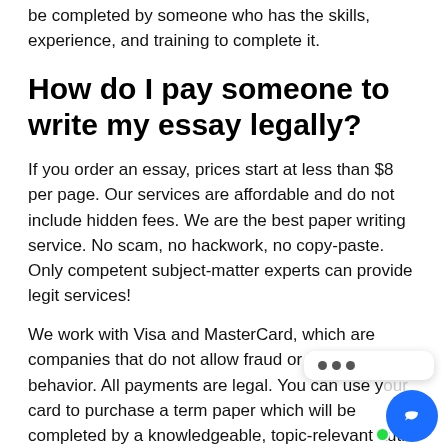be completed by someone who has the skills, experience, and training to complete it.
How do I pay someone to write my essay legally?
If you order an essay, prices start at less than $8 per page. Our services are affordable and do not include hidden fees. We are the best paper writing service. No scam, no hackwork, no copy-paste. Only competent subject-matter experts can provide legit services!
We work with Visa and MasterCard, which are companies that do not allow fraud or illegal financial behavior. All payments are legal. You can use your card to purchase a term paper which will be completed by a knowledgeable, topic-relevant auth